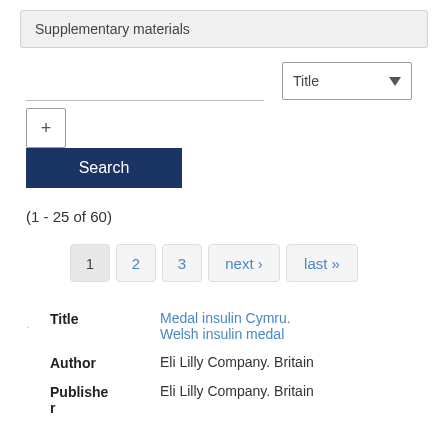Supplementary materials
Title (dropdown)
+ Search
(1 - 25 of 60)
1  2  3  next›  last»
| Field | Value |
| --- | --- |
| Title | Medal insulin Cymru. Welsh insulin medal |
| Author | Eli Lilly Company. Britain |
| Publisher | Eli Lilly Company. Britain |